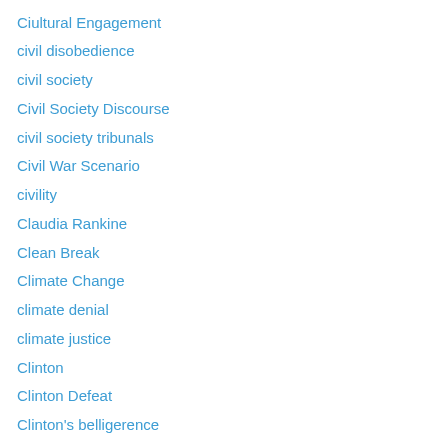Ciultural Engagement
civil disobedience
civil society
Civil Society Discourse
civil society tribunals
Civil War Scenario
civility
Claudia Rankine
Clean Break
Climate Change
climate denial
climate justice
Clinton
Clinton Defeat
Clinton's belligerence
Clinton's foreign policy
CNN
Coalition for Change
Coercive Diplomacy
Cold War